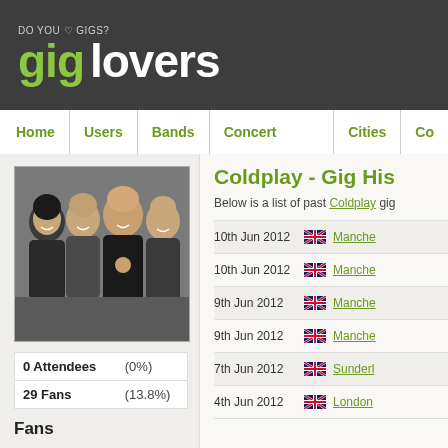gig lovers — DO YOU LOVE GIGS?
Home | Users | Bands | Concert Tickets | Cities | Co...
[Figure (photo): Photo of Coldplay band members, four men smiling and laughing, against a grey background.]
| Stat | Value |
| --- | --- |
| 0 Attendees | (0%) |
| 29 Fans | (13.8%) |
Fans
Coldplay - Gig His...
Below is a list of past Coldplay gig...
10th Jun 2012 — Manchester
10th Jun 2012 — Manchester
9th Jun 2012 — Manchester
9th Jun 2012 — Manchester
7th Jun 2012 — Sunderland
4th Jun 2012 — London